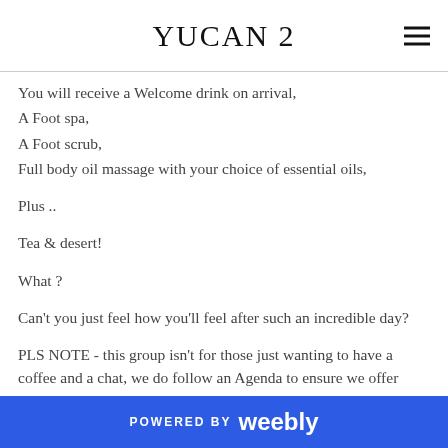YUCAN 2
You will receive a Welcome drink on arrival,
A Foot spa,
A Foot scrub,
Full body oil massage with your choice of essential oils,
Plus ..
Tea & desert!
What ?
Can't you just feel how you'll feel after such an incredible day?
PLS NOTE - this group isn't for those just wanting to have a coffee and a chat, we do follow an Agenda to ensure we offer
POWERED BY weebly